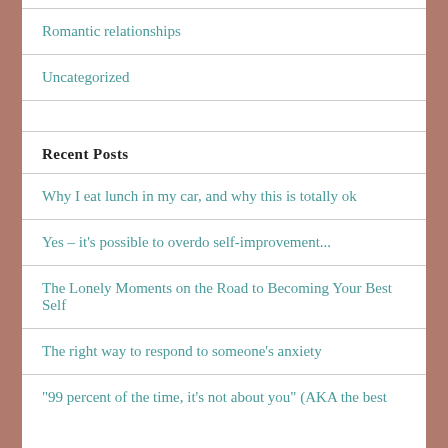Romantic relationships
Uncategorized
Recent Posts
Why I eat lunch in my car, and why this is totally ok
Yes – it's possible to overdo self-improvement...
The Lonely Moments on the Road to Becoming Your Best Self
The right way to respond to someone's anxiety
"99 percent of the time, it's not about you" (AKA the best